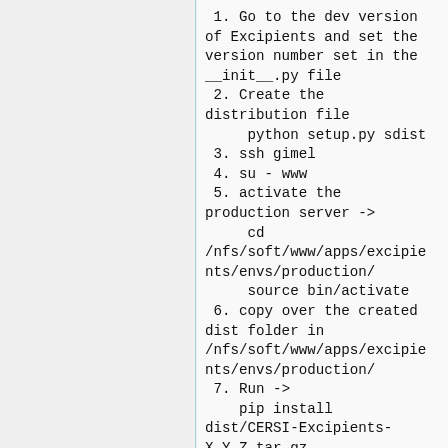1. Go to the dev version of Excipients and set the version number set in the __init__.py file
2. Create the distribution file
    python setup.py sdist
3. ssh gimel
4. su - www
5. activate the production server ->
    cd /nfs/soft/www/apps/excipients/envs/production/
    source bin/activate
6. copy over the created dist folder in /nfs/soft/www/apps/excipients/envs/production/
7. Run ->
    pip install dist/CERSI-Excipients-X.Y.Z.tar.gz
8.